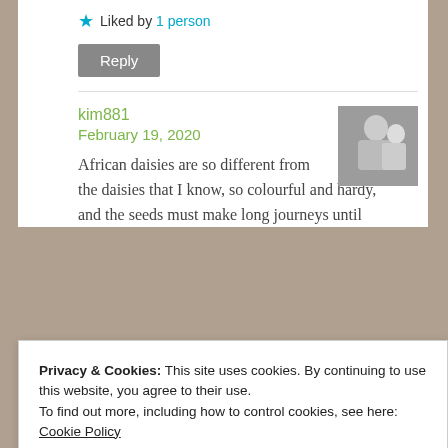★ Liked by 1 person
Reply
kim881
February 19, 2020
[Figure (photo): Black and white avatar photo of a person]
African daisies are so different from the daisies that I know, so colourful and hardy, and the seeds must make long journeys until
Privacy & Cookies: This site uses cookies. By continuing to use this website, you agree to their use.
To find out more, including how to control cookies, see here: Cookie Policy
Close and accept